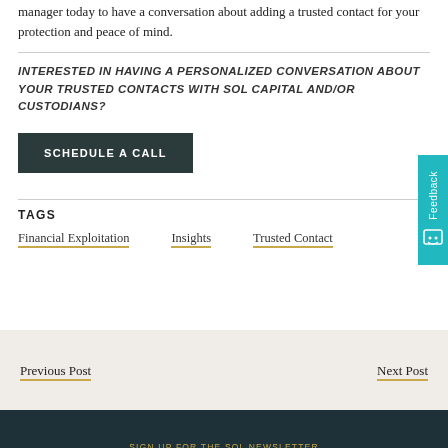manager today to have a conversation about adding a trusted contact for your protection and peace of mind.
INTERESTED IN HAVING A PERSONALIZED CONVERSATION ABOUT YOUR TRUSTED CONTACTS WITH SOL CAPITAL AND/OR CUSTODIANS?
SCHEDULE A CALL
TAGS
Financial Exploitation
Insights
Trusted Contact
Previous Post
Next Post
SIGN UP FOR THE SOL NEWSLETTER
Insights, News, and Updates in Your